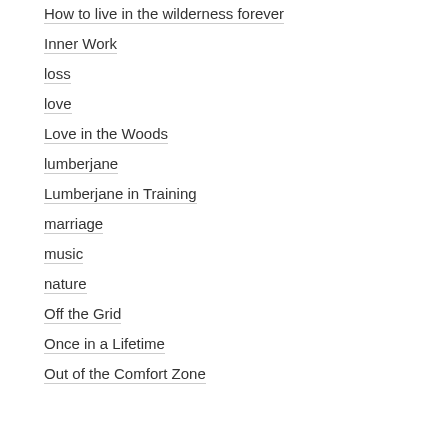How to live in the wilderness forever
Inner Work
loss
love
Love in the Woods
lumberjane
Lumberjane in Training
marriage
music
nature
Off the Grid
Once in a Lifetime
Out of the Comfort Zone